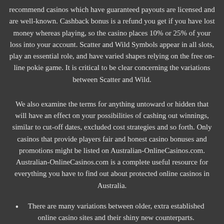recommend casinos which have guaranteed payouts are licensed and are well-known. Cashback bonus is a refund you get if you have lost money whereas playing, so the casino places 10% or 25% of your loss into your account. Scatter and Wild Symbols appear in all slots, play an essential role, and have varied shapes relying on the free on-line pokie game. It is critical to be clear concerning the variations between Scatter and Wild.
We also examine the terms for anything untoward or hidden that will have an effect on your possibilities of cashing out winnings, similar to cut-off dates, excluded cost strategies and so forth. Only casinos that provide players fair and honest casino bonuses and promotions might be listed on Australian-OnlineCasinos.com. Australian-OnlineCasinos.com is a complete useful resource for everything you have to find out about protected online casinos in Australia.
There are many variations between older, extra established online casino sites and their shiny new counterparts.
Click the Sign Up/Register/Join button and observe the